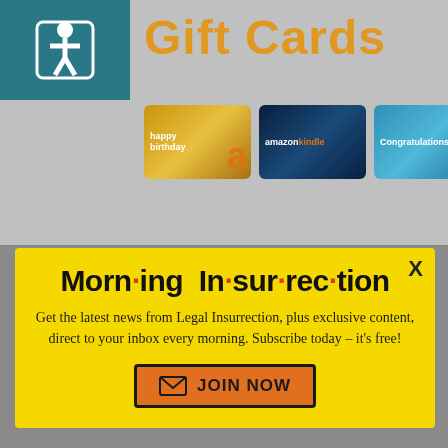[Figure (screenshot): Screenshot of a webpage showing Amazon Gift Cards page in background with a yellow subscription modal overlay (Morning Insurrection) and a Fiverr advertisement bar at bottom.]
Morning Insurrection
Get the latest news from Legal Insurrection, plus exclusive content, direct to your inbox every morning. Subscribe today – it's free!
JOIN NOW
When you shop at smile.amazon.com, shop
fiverr   Start Now
Go to smile.amazon.com